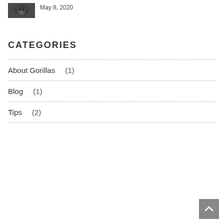[Figure (photo): Small thumbnail photo of a gorilla]
May 8, 2020
CATEGORIES
About Gorillas   (1)
Blog   (1)
Tips   (2)